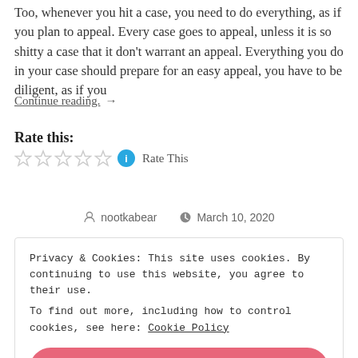Too, whenever you hit a case, you need to do everything, as if you plan to appeal. Every case goes to appeal, unless it is so shitty a case that it don't warrant an appeal. Everything you do in your case should prepare for an easy appeal, you have to be diligent, as if you
Continue reading. →
Rate this:
★★★★★ ℹ Rate This
nootkabear   March 10, 2020
Privacy & Cookies: This site uses cookies. By continuing to use this website, you agree to their use.
To find out more, including how to control cookies, see here: Cookie Policy
Close and accept